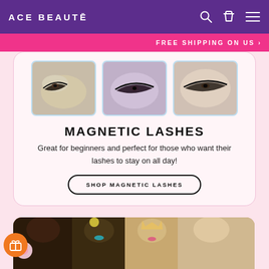ACE BEAUTÉ
FREE SHIPPING ON US
[Figure (photo): Three thumbnail photos showing close-up eye makeup with magnetic lashes applied]
MAGNETIC LASHES
Great for beginners and perfect for those who want their lashes to stay on all day!
SHOP MAGNETIC LASHES
[Figure (photo): Group photo of four women with colorful makeup and decorative accessories including flowers and a crown]